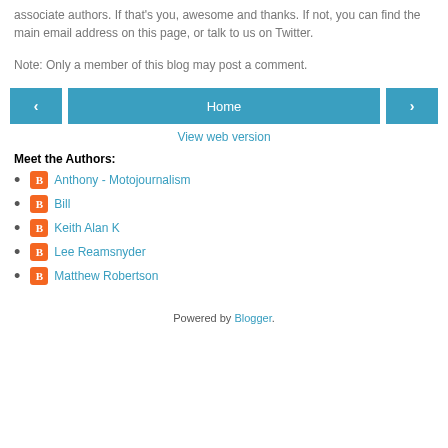associate authors. If that's you, awesome and thanks. If not, you can find the main email address on this page, or talk to us on Twitter.
Note: Only a member of this blog may post a comment.
[Figure (infographic): Navigation bar with left arrow button, Home button, and right arrow button]
View web version
Meet the Authors:
Anthony - Motojournalism
Bill
Keith Alan K
Lee Reamsnyder
Matthew Robertson
Powered by Blogger.